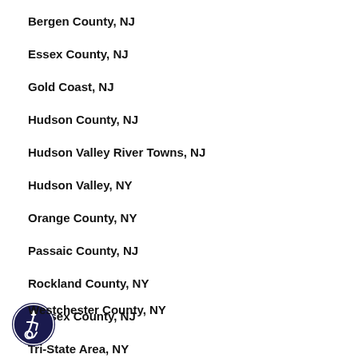Bergen County, NJ
Essex County, NJ
Gold Coast, NJ
Hudson County, NJ
Hudson Valley River Towns, NJ
Hudson Valley, NY
Orange County, NY
Passaic County, NJ
Rockland County, NY
Sussex County, NJ
Tri-State Area, NY
Westchester County, NY